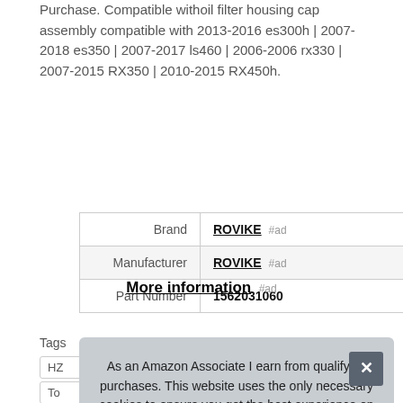Purchase. Compatible withoil filter housing cap assembly compatible with 2013-2016 es300h | 2007-2018 es350 | 2007-2017 ls460 | 2006-2006 rx330 | 2007-2015 RX350 | 2010-2015 RX450h.
|  |  |
| --- | --- |
| Brand | ROVIKE #ad |
| Manufacturer | ROVIKE #ad |
| Part Number | 1562031060 |
More information #ad
Tags
HZ
To
As an Amazon Associate I earn from qualifying purchases. This website uses the only necessary cookies to ensure you get the best experience on our website. More information